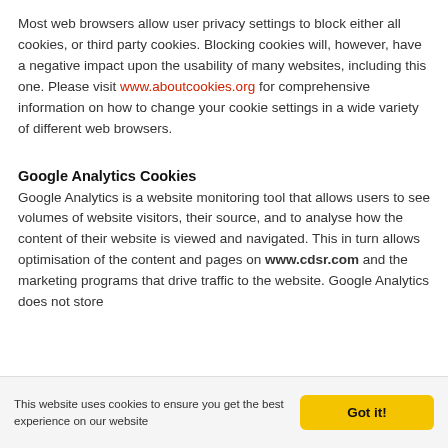Most web browsers allow user privacy settings to block either all cookies, or third party cookies. Blocking cookies will, however, have a negative impact upon the usability of many websites, including this one. Please visit www.aboutcookies.org for comprehensive information on how to change your cookie settings in a wide variety of different web browsers.
Google Analytics Cookies
Google Analytics is a website monitoring tool that allows users to see volumes of website visitors, their source, and to analyse how the content of their website is viewed and navigated. This in turn allows optimisation of the content and pages on www.cdsr.com and the marketing programs that drive traffic to the website. Google Analytics does not store
This website uses cookies to ensure you get the best experience on our website